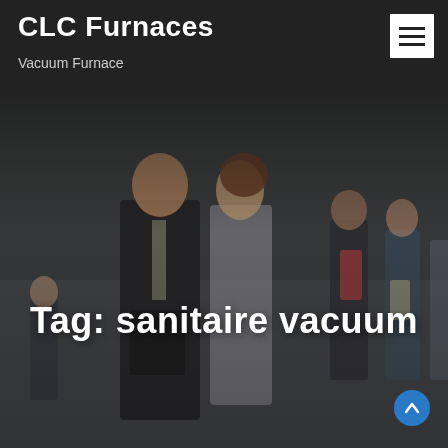CLC Furnaces
Vacuum Furnace
[Figure (photo): Dark-tinted background photo of people walking in an urban setting; a businessman and a woman reviewing documents are in the foreground, with other pedestrians in the background.]
Tag: sanitaire vacuum